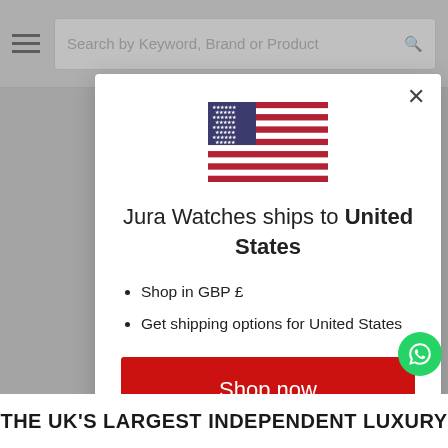Search by Keyword, Brand or Product
[Figure (illustration): US flag centered in modal dialog]
Jura Watches ships to United States
Shop in GBP £
Get shipping options for United States
Shop now
Change shipping country
THE UK'S LARGEST INDEPENDENT LUXURY